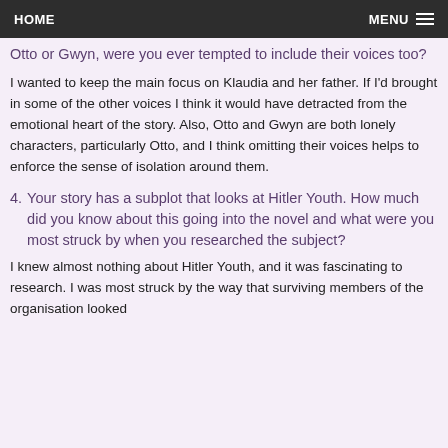HOME   MENU
Otto or Gwyn, were you ever tempted to include their voices too?
I wanted to keep the main focus on Klaudia and her father. If I'd brought in some of the other voices I think it would have detracted from the emotional heart of the story. Also, Otto and Gwyn are both lonely characters, particularly Otto, and I think omitting their voices helps to enforce the sense of isolation around them.
4. Your story has a subplot that looks at Hitler Youth. How much did you know about this going into the novel and what were you most struck by when you researched the subject?
I knew almost nothing about Hitler Youth, and it was fascinating to research. I was most struck by the way that surviving members of the organisation looked